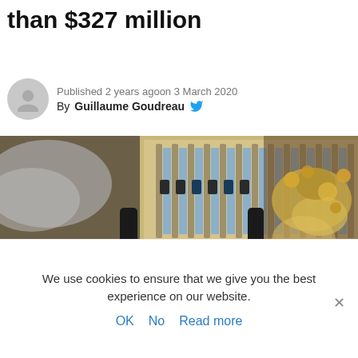…fake watches worth more than $327 million
Published 2 years agoon 3 March 2020
By Guillaume Goudreau
[Figure (photo): Photo of open suitcases filled with rows of fake watches and jewelry/coins, viewed from above at an angle.]
We use cookies to ensure that we give you the best experience on our website.
OK   No   Read more